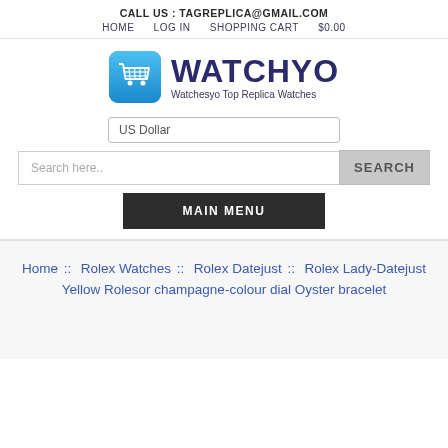CALL US : TAGREPLICA@GMAIL.COM
HOME   LOG IN   SHOPPING CART   $0.00
[Figure (logo): Watchyo shopping cart logo with blue rounded square icon and brand name WATCHYO, tagline: Watchesyo Top Replica Watches]
US Dollar
Search here..  SEARCH
MAIN MENU
Home ::  Rolex Watches ::  Rolex Datejust ::  Rolex Lady-Datejust Yellow Rolesor champagne-colour dial Oyster bracelet